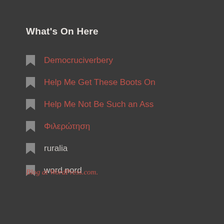What's On Here
Democruciverbery
Help Me Get These Boots On
Help Me Not Be Such an Ass
Φιλερώτηση
ruralia
word nord
Blog at WordPress.com.